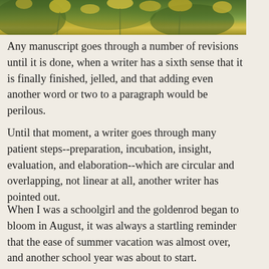[Figure (photo): Photograph of goldenrod plants in bloom with yellow flowers and green foliage, partially visible at top of page]
Any manuscript goes through a number of revisions until it is done, when a writer has a sixth sense that it is finally finished, jelled, and that adding even another word or two to a paragraph would be perilous.
Until that moment, a writer goes through many patient steps--preparation, incubation, insight, evaluation, and elaboration--which are circular and overlapping, not linear at all, another writer has pointed out.
When I was a schoolgirl and the goldenrod began to bloom in August, it was always a startling reminder that the ease of summer vacation was almost over, and another school year was about to start.